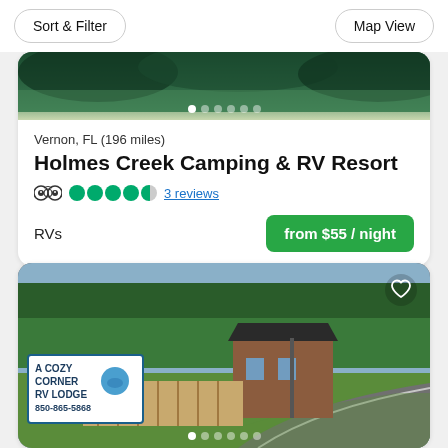Sort & Filter   Map View
[Figure (photo): Partial top image of Holmes Creek Camping & RV Resort showing green forest scenery with pagination dots]
Vernon, FL (196 miles)
Holmes Creek Camping & RV Resort
TripAdvisor icon, 4.5 green circles, 3 reviews
RVs
from $55 / night
[Figure (photo): Aerial/elevated photo of A Cozy Corner RV Lodge showing sign reading 'A COZY CORNER RV LODGE 850-865-5868', wooden fence, brick building, road curving to the right, trees in background. Heart/favorite icon in top right corner. Pagination dots at bottom.]